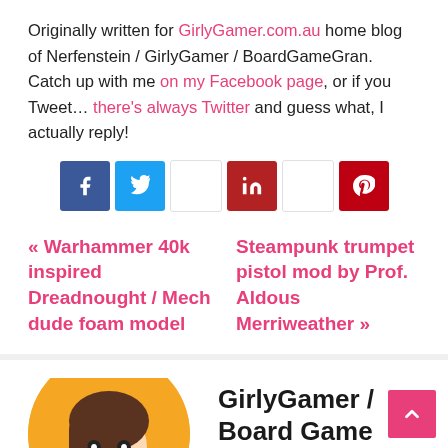Originally written for GirlyGamer.com.au home blog of Nerfenstein / GirlyGamer / BoardGameGran. Catch up with me on my Facebook page, or if you Tweet… there's always Twitter and guess what, I actually reply!
[Figure (other): Social media share buttons: Facebook (blue), Twitter (light blue), a white button, LinkedIn (dark red), a white button, Pinterest (dark red)]
« Warhammer 40k inspired Dreadnought / Mech dude foam model    Steampunk trumpet pistol mod by Prof. Aldous Merriweather »
[Figure (illustration): Circular avatar illustration of an anime-style girl with dark hair, holding a blue star shape, on an orange circle background]
GirlyGamer / Board Game G...